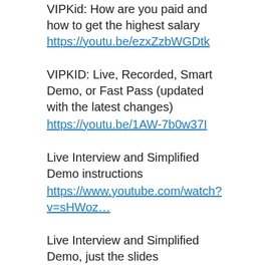VIPKid: How are you paid and how to get the highest salary https://youtu.be/ezxZzbWGDtk
VIPKID: Live, Recorded, Smart Demo, or Fast Pass (updated with the latest changes) https://youtu.be/1AW-7b0w37I
Live Interview and Simplified Demo instructions https://www.youtube.com/watch?v=sHWoz…
Live Interview and Simplified Demo, just the slides https://www.youtube.com/watch?v=xWYFD…
The New Smart Demo https://www.youtube.com/watch?v=5Sv6c…
Take this TESOL course before your interview and